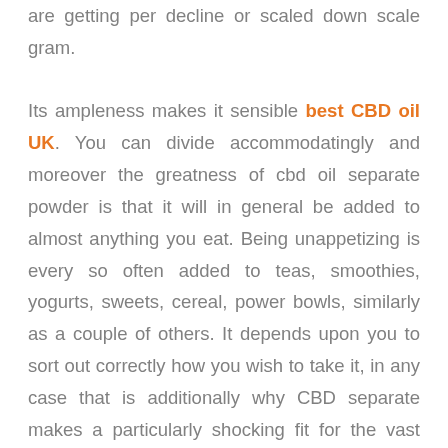are getting per decline or scaled down scale gram. Its ampleness makes it sensible best CBD oil UK. You can divide accommodatingly and moreover the greatness of cbd oil separate powder is that it will in general be added to almost anything you eat. Being unappetizing is every so often added to teas, smoothies, yogurts, sweets, cereal, power bowls, similarly as a couple of others. It depends upon you to sort out correctly how you wish to take it, in any case that is additionally why CBD separate makes a particularly shocking fit for the vast majority of customers. You have lots of decision when it identifies